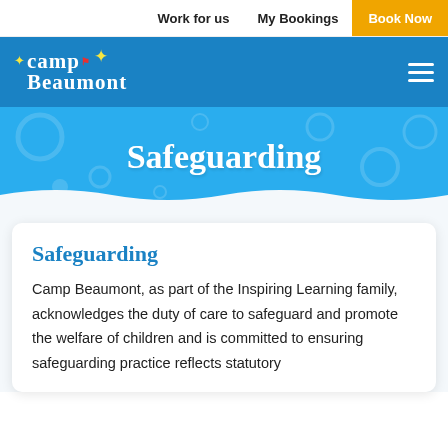Work for us   My Bookings   Book Now
[Figure (logo): Camp Beaumont logo in white text on blue background with star and spark decorations, hamburger menu icon on right]
Safeguarding
Safeguarding
Camp Beaumont, as part of the Inspiring Learning family, acknowledges the duty of care to safeguard and promote the welfare of children and is committed to ensuring safeguarding practice reflects statutory